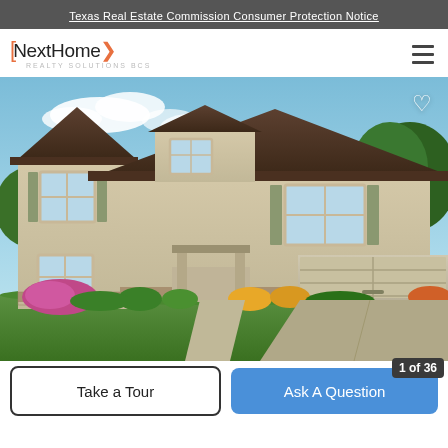Texas Real Estate Commission Consumer Protection Notice
[Figure (logo): NextHome Realty Solutions BCS logo with orange brackets and arrow]
[Figure (photo): Two-story beige/tan new construction home with brown shingles, two-car garage, multiple windows with shutters, brick accents at base, landscaping with colorful flowers and green shrubs, blue sky with clouds in background. Heart/favorite icon in upper right corner.]
Take a Tour
Ask A Question
1 of 36